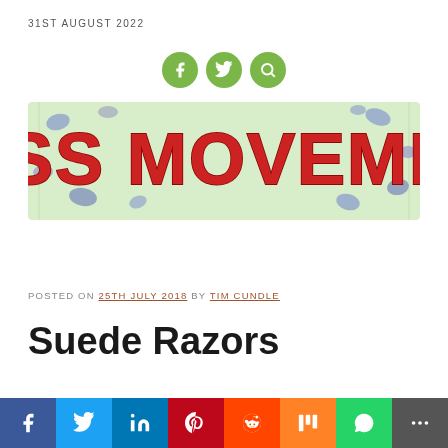31ST AUGUST 2022
[Figure (logo): Three green circular social media icons: Facebook, Twitter, Search]
[Figure (logo): Mass Movement logo - large stylized red text on light green background with decorative stones/pebbles]
POSTED ON 25TH JULY 2018 BY TIM CUNDLE
Suede Razors
[Figure (infographic): Social share bar with Facebook, Twitter, LinkedIn, Pinterest, Reddit, Mix, WhatsApp, and More buttons]